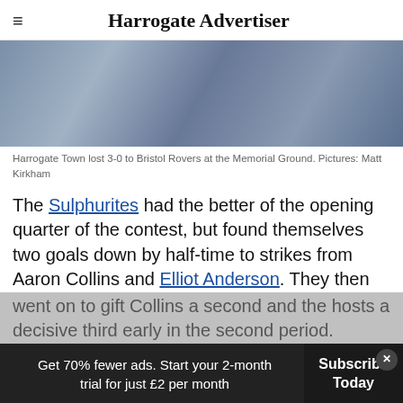Harrogate Advertiser
[Figure (photo): Football players on the pitch, partial view of players' legs and bodies during a match at the Memorial Ground]
Harrogate Town lost 3-0 to Bristol Rovers at the Memorial Ground. Pictures: Matt Kirkham
The Sulphurites had the better of the opening quarter of the contest, but found themselves two goals down by half-time to strikes from Aaron Collins and Elliot Anderson. They then went on to gift Collins a second and the hosts a decisive third early in the second period.
Get 70% fewer ads. Start your 2-month trial for just £2 per month
Subscribe Today